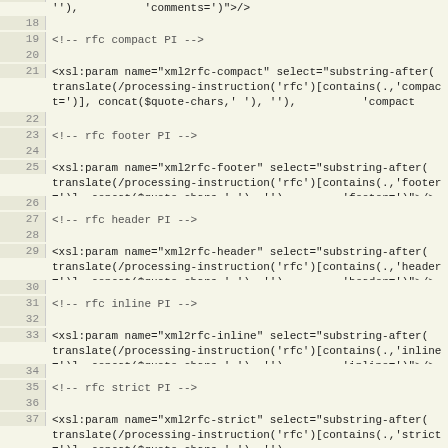Code listing showing XML/XSLT parameters (lines 17-37)